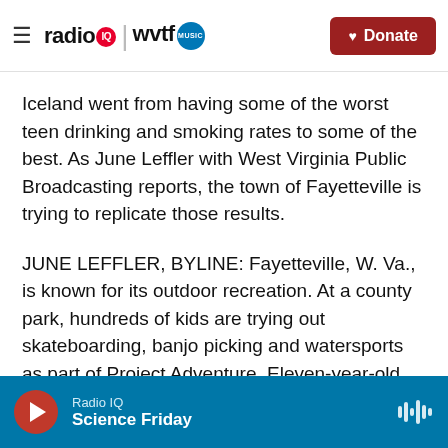radio IQ | wvtf MUSIC — Donate
Iceland went from having some of the worst teen drinking and smoking rates to some of the best. As June Leffler with West Virginia Public Broadcasting reports, the town of Fayetteville is trying to replicate those results.
JUNE LEFFLER, BYLINE: Fayetteville, W. Va., is known for its outdoor recreation. At a county park, hundreds of kids are trying out skateboarding, banjo picking and watersports as part of Project Adventure. Eleven-year-old Adriana Abarra loves the fishing.
Radio IQ — Science Friday